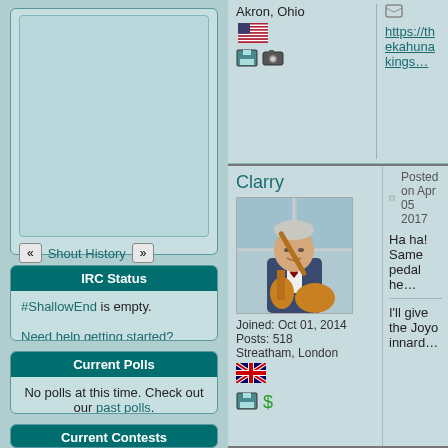Please login or register to shout.
IRC Status
#ShallowEnd is empty.
Need help getting started?
Current Polls
No polls at this time. Check out our past polls.
Current Contests
Akron, Ohio
https://thekahunakings...
Clarry
Posted on Apr 05 2017
Ha ha! Same pedal he...
I'll give the Joyo innard...
Joined: Oct 01, 2014
Posts: 518
Streatham, London
Brian
Posted on Apr 05 2017
Gilette's drill pattern is ...
—
Site dude - S3 Agent #...
Need help with the site...
Joined: Feb 25, 2006
Posts: 18947
Des Moines, Iowa, USA